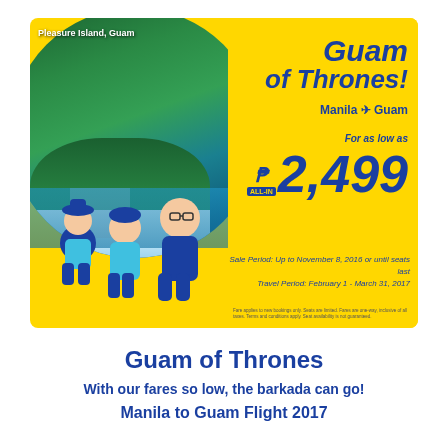[Figure (illustration): Cebu Pacific airline promotional advertisement for Manila to Guam flight. Yellow background with a circular photo of Pleasure Island, Guam (coastal cliff with resort buildings and blue sea) on the left, cartoon family illustration at bottom left, and promotional text on the right reading 'Guam of Thrones! Manila → Guam For as low as ₱2,499 ALL-IN'. Sale Period: Up to November 8, 2016 or until seats last. Travel Period: February 1 - March 31, 2017.]
Guam of Thrones
With our fares so low, the barkada can go!
Manila to Guam Flight 2017